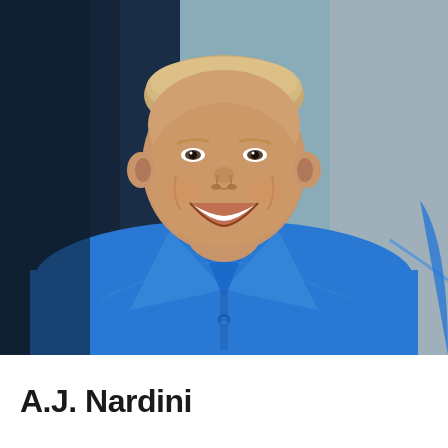[Figure (photo): Professional headshot of a smiling man wearing a bright blue polo shirt, photographed against a dark navy blue and light gray background. The photo shows his face and upper torso/chest area.]
A.J. Nardini